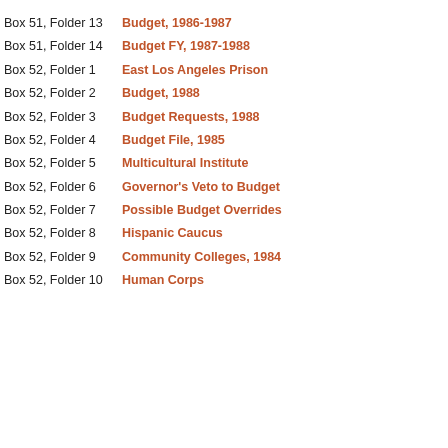Box 51, Folder 13   Budget, 1986-1987
Box 51, Folder 14   Budget FY, 1987-1988
Box 52, Folder 1    East Los Angeles Prison
Box 52, Folder 2    Budget, 1988
Box 52, Folder 3    Budget Requests, 1988
Box 52, Folder 4    Budget File, 1985
Box 52, Folder 5    Multicultural Institute
Box 52, Folder 6    Governor's Veto to Budget
Box 52, Folder 7    Possible Budget Overrides
Box 52, Folder 8    Hispanic Caucus
Box 52, Folder 9    Community Colleges, 1984
Box 52, Folder 10   Human Corps